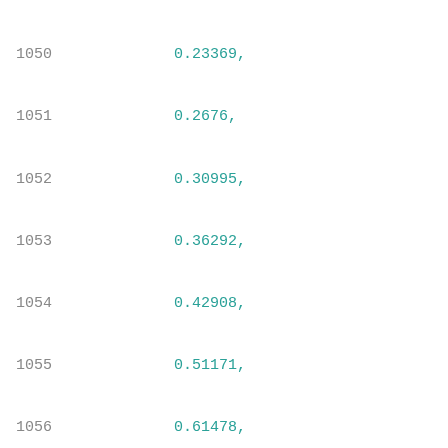1050    0.23369,
1051    0.2676,
1052    0.30995,
1053    0.36292,
1054    0.42908,
1055    0.51171,
1056    0.61478,
1057    0.74363,
1058    0.905,
1059    1.10662
1060    ],
1061    [
1062    0.09804,
1063    0.13488,
1064    0.14384,
1065    0.155,
1066    0.16893,
1067    0.1863,
1068    0.208,
1069    0.23515,
1070    0.26906,
1071    0.31142,